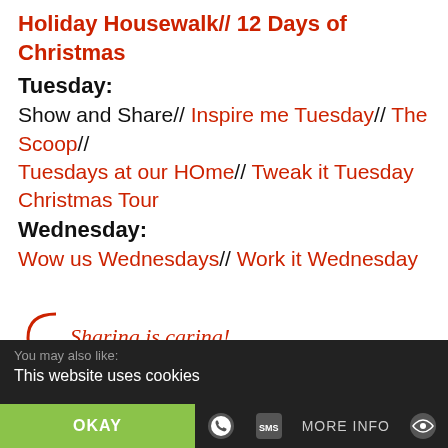Holiday Housewalk// 12 Days of Christmas
Tuesday:
Show and Share// Inspire me Tuesday// The Scoop// Tuesdays at our HOme// Tweak it Tuesday Christmas Tour
Wednesday:
Wow us Wednesdays// Work it Wednesday
[Figure (infographic): Sharing is caring! with social media icon buttons: Facebook, Twitter, Pinterest, LinkedIn, Email, Share]
You may also like:
This website uses cookies
OKAY   MORE INFO